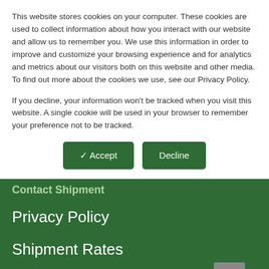This website stores cookies on your computer. These cookies are used to collect information about how you interact with our website and allow us to remember you. We use this information in order to improve and customize your browsing experience and for analytics and metrics about our visitors both on this website and other media. To find out more about the cookies we use, see our Privacy Policy.
If you decline, your information won't be tracked when you visit this website. A single cookie will be used in your browser to remember your preference not to be tracked.
✓ Accept | Decline
Contact Shipment
Privacy Policy
Shipment Rates
Terms of Sale
Sales Tax
Return Policy